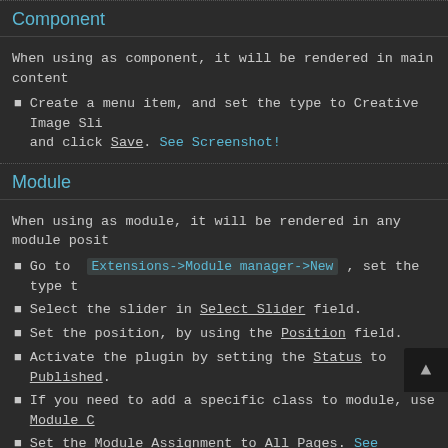Component
When using as component, it will be rendered in main content
Create a menu item, and set the type to Creative Image Slider and click Save. See Screenshot!
Module
When using as module, it will be rendered in any module position
Go to Extensions->Module manager->New , set the type to
Select the slider in Select Slider field.
Set the position, by using the Position field.
Activate the plugin by setting the Status to Published.
If you need to add a specific class to module, use Module C
Set the Module Assignment to All Pages. See Screenshot!
Plugin
To insert Creative Image Slider anywhere in content, you need
To insert slider in content, use shortcode. It has the structure get the shortcode from sliders list page ( Components-> Cr Just copy the shortcode and place anywhere in content. See
See the plugin demo